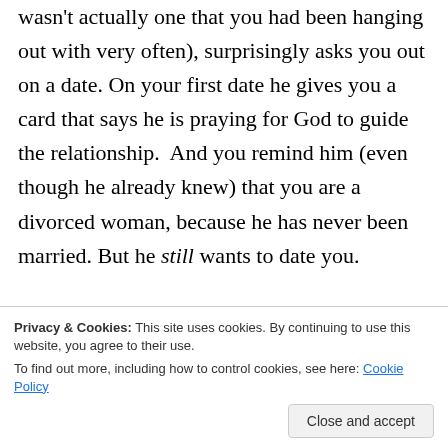wasn't actually one that you had been hanging out with very often), surprisingly asks you out on a date. On your first date he gives you a card that says he is praying for God to guide the relationship.  And you remind him (even though he already knew) that you are a divorced woman, because he has never been married. But he still wants to date you.
12. So you go on your second date with him and he takes you to Lake Michigan and walks on
your third date with this fellow, and you tell
Privacy & Cookies: This site uses cookies. By continuing to use this website, you agree to their use.
To find out more, including how to control cookies, see here: Cookie Policy